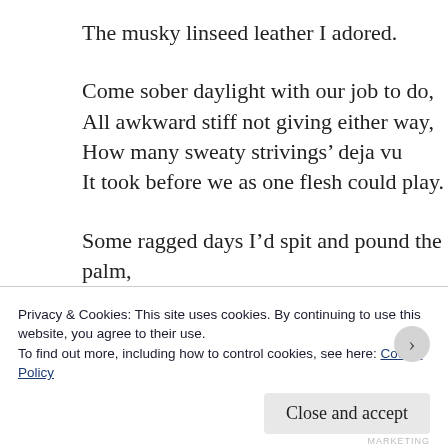The musky linseed leather I adored.
Come sober daylight with our job to do,
All awkward stiff not giving either way,
How many sweaty strivings’ deja vu
It took before we as one flesh could play.
Some ragged days I’d spit and pound the palm,
Or hurl the thing against the dugout wall,
But all the while a magic mute and calm
Mutated hand to glove with every ball.
The softening was gradual but sure
Privacy & Cookies: This site uses cookies. By continuing to use this website, you agree to their use.
To find out more, including how to control cookies, see here: Cookie Policy
Close and accept